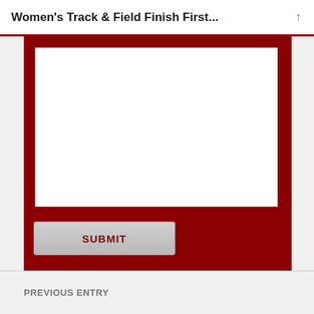Women's Track & Field Finish First...
[Figure (screenshot): A web form with a large white textarea for user comments, surrounded by a dark red border and background. Below the textarea is a Submit button with dark red text on a gray gradient background.]
SUBMIT
PREVIOUS ENTRY